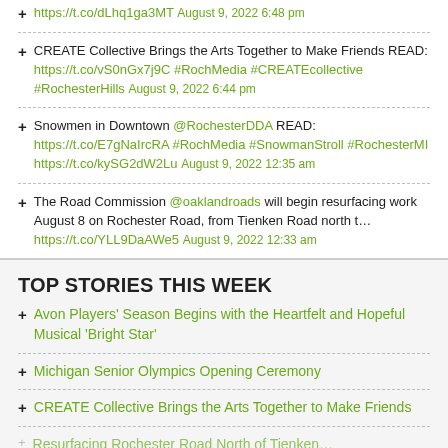https://t.co/dLhq1ga3MT August 9, 2022 6:48 pm
CREATE Collective Brings the Arts Together to Make Friends READ: https://t.co/vS0nGx7j9C #RochMedia #CREATEcollective #RochesterHills August 9, 2022 6:44 pm
Snowmen in Downtown @RochesterDDA READ: https://t.co/E7gNaIrcRA #RochMedia #SnowmanStroll #RochesterMI https://t.co/kySG2dW2Lu August 9, 2022 12:35 am
The Road Commission @oaklandroads will begin resurfacing work August 8 on Rochester Road, from Tienken Road north t… https://t.co/YLL9DaAWe5 August 9, 2022 12:33 am
TOP STORIES THIS WEEK
Avon Players' Season Begins with the Heartfelt and Hopeful Musical 'Bright Star'
Michigan Senior Olympics Opening Ceremony
CREATE Collective Brings the Arts Together to Make Friends
Resurfacing Rochester Road North of Tienken…